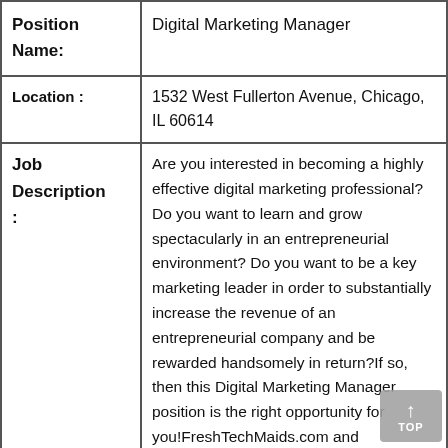| Field | Value |
| --- | --- |
| Position Name: | Digital Marketing Manager |
| Location : | 1532 West Fullerton Avenue, Chicago, IL 60614 |
| Job Description : | Are you interested in becoming a highly effective digital marketing professional? Do you want to learn and grow spectacularly in an entrepreneurial environment? Do you want to be a key marketing leader in order to substantially increase the revenue of an entrepreneurial company and be rewarded handsomely in return?If so, then this Digital Marketing Manager position is the right opportunity for you!FreshTechMaids.com and GreatHires.ai, a leader in chemical-free cleaning in the USA and a startup for AI application in recruiting, seeks a Digital Marketing Manager.Are you?· Insp... have a burning desire to do great things... |